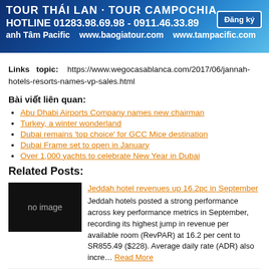[Figure (infographic): Tour Thailand and Campochia banner advertisement with hotline numbers, website URLs, and a Dang ky (register) button on a blue gradient background.]
Links topic: https://www.wegocasablanca.com/2017/06/jannah-hotels-resorts-names-vp-sales.html
Bài viết liên quan:
Abu Dhabi Airports Company names new chairman
Turkey, a winter wonderland
Dubai remains 'top choice' for GCC Mice destination
Dubai Frame set to open in January
Over 1,000 yachts to celebrate New Year in Dubai
Related Posts:
[Figure (photo): No image placeholder thumbnail (black background with 'no image' text)]
Jeddah hotel revenues up 16.2pc in September
Jeddah hotels posted a strong performance across key performance metrics in September, recording its highest jump in revenue per available room (RevPAR) at 16.2 per cent to SR855.49 ($228). Average daily rate (ADR) also incre… Read More
[Figure (photo): No image placeholder thumbnail (black background)]
Jazeera named â€˜Low Cost Airline of the Yearâ€™
Jazeera Airways, a national airline of Kuwait, operating